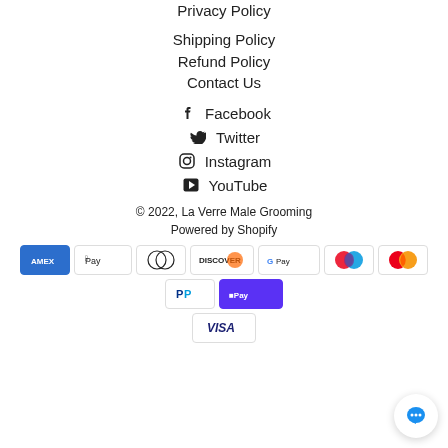Privacy Policy
Shipping Policy
Refund Policy
Contact Us
Facebook
Twitter
Instagram
YouTube
© 2022, La Verre Male Grooming
Powered by Shopify
[Figure (other): Payment method icons: American Express, Apple Pay, Diners Club, Discover, Google Pay, Maestro, Mastercard, PayPal, Shop Pay, Visa]
[Figure (other): Chat support button (blue speech bubble icon)]